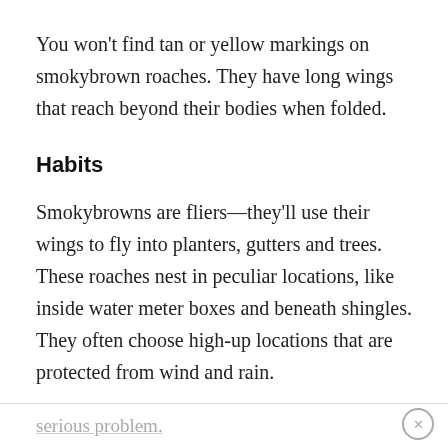You won't find tan or yellow markings on smokybrown roaches. They have long wings that reach beyond their bodies when folded.
Habits
Smokybrowns are fliers—they'll use their wings to fly into planters, gutters and trees. These roaches nest in peculiar locations, like inside water meter boxes and beneath shingles. They often choose high-up locations that are protected from wind and rain.
Have an attic? Smokybrown roaches could be a serious problem.